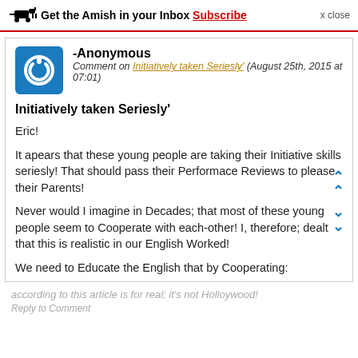Get the Amish in your Inbox Subscribe x close
-Anonymous
Comment on Initiatively taken Seriesly' (August 25th, 2015 at 07:01)
Initiatively taken Seriesly'
Eric!

It apears that these young people are taking their Initiative skills seriesly! That should pass their Performace Reviews to please their Parents!

Never would I imagine in Decades; that most of these young people seem to Cooperate with each-other! I, therefore; dealt that this is realistic in our English Worked!

We need to Educate the English that by Cooperating:
according to this article is for real; it's not Holloywood!
Reply to Comment